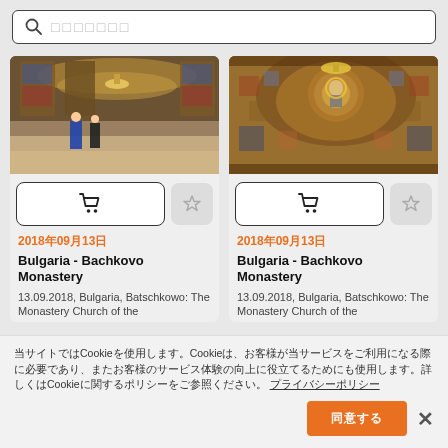（search placeholder characters）
[Figure (photo): Interior of Bachkovo Monastery church with ornate frescoes, chandeliers, and visitors]
[Figure (photo): Interior ceiling of Bachkovo Monastery church with elaborate Byzantine-style frescoes and chandelier]
2018年09月13日
Bulgaria - Bachkovo Monastery
13.09.2018, Bulgaria, Batschkowo: The Monastery Church of the
2018年09月13日
Bulgaria - Bachkovo Monastery
13.09.2018, Bulgaria, Batschkowo: The Monastery Church of the
当サイトではCookieを使用します。Cookieは、お客様が当サービスをご利用になる際に必要であり、またお客様のサービス体験の向上に役立てるためにも使用します。詳しくはCookieに関するポリシーをご参照ください。 プライバシーポリシー
同意する